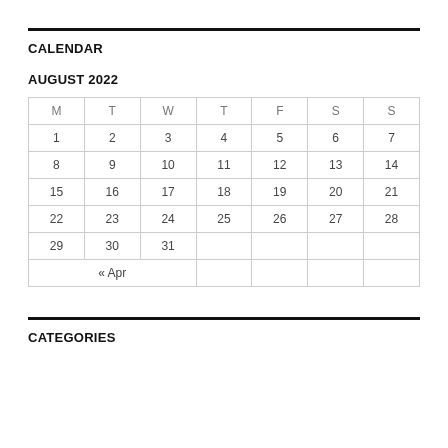CALENDAR
AUGUST 2022
| M | T | W | T | F | S | S |
| --- | --- | --- | --- | --- | --- | --- |
| 1 | 2 | 3 | 4 | 5 | 6 | 7 |
| 8 | 9 | 10 | 11 | 12 | 13 | 14 |
| 15 | 16 | 17 | 18 | 19 | 20 | 21 |
| 22 | 23 | 24 | 25 | 26 | 27 | 28 |
| 29 | 30 | 31 |  |  |  |  |
| « Apr |  |  |  |  |  |  |
CATEGORIES